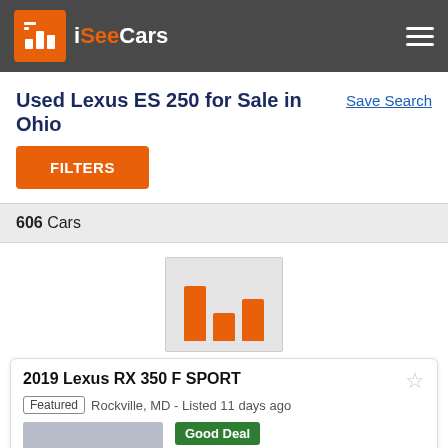iSeeCars
Used Lexus ES 250 for Sale in Ohio
Save Search
FILTERS
606 Cars
[Figure (logo): iSeeCars bar chart logo icon placeholder]
2019 Lexus RX 350 F SPORT
Featured  Rockville, MD - Listed 11 days ago
Good Deal
$2,964 Below Market
$43,488
34,063 mi